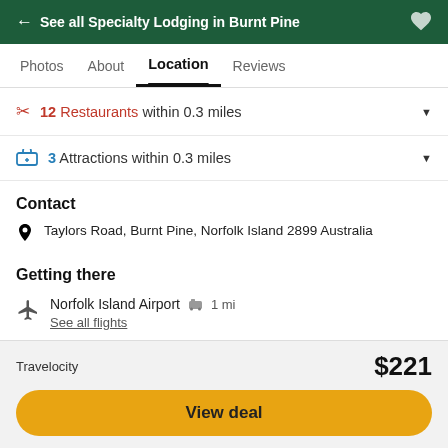← See all Specialty Lodging in Burnt Pine
Photos   About   Location   Reviews
✂ 12 Restaurants within 0.3 miles
🎟 3 Attractions within 0.3 miles
Contact
Taylors Road, Burnt Pine, Norfolk Island 2899 Australia
Getting there
Norfolk Island Airport 🚌 1 mi
See all flights
See all nearby hotels ▶
Travelocity   $221
View deal